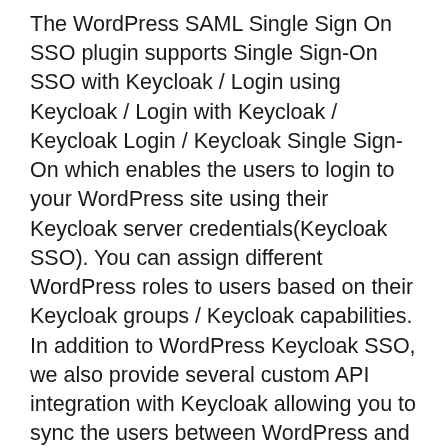The WordPress SAML Single Sign On SSO plugin supports Single Sign-On SSO with Keycloak / Login using Keycloak / Login with Keycloak / Keycloak Login / Keycloak Single Sign-On which enables the users to login to your WordPress site using their Keycloak server credentials(Keycloak SSO). You can assign different WordPress roles to users based on their Keycloak groups / Keycloak capabilities. In addition to WordPress Keycloak SSO, we also provide several custom API integration with Keycloak allowing you to sync the users between WordPress and Keycloak.
Please contact us at samlsupport@xecurify.com to know more about this.
ADFS SSO
The WordPress SAML Single Sign On SSO plugin supports ADFS SSO use cases such as Login with ADFS, Login using ADFS, ADFS SSO(ADFS Single Sign